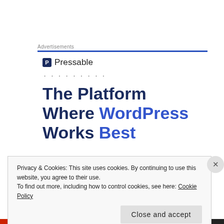Advertisements
[Figure (logo): Pressable logo with icon and name, followed by dots]
The Platform Where WordPress Works Best
Privacy & Cookies: This site uses cookies. By continuing to use this website, you agree to their use. To find out more, including how to control cookies, see here: Cookie Policy
Close and accept